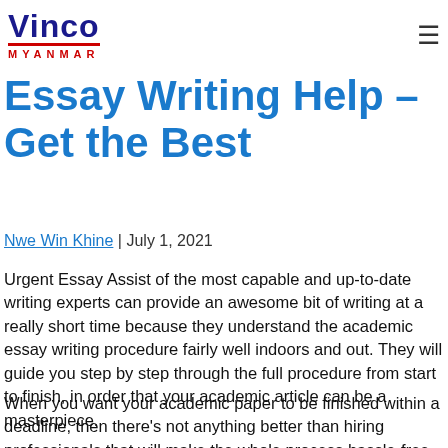Vinco Myanmar
Essay Writing Help – Get the Best
Nwe Win Khine | July 1, 2021
Urgent Essay Assist of the most capable and up-to-date writing experts can provide an awesome bit of writing at a really short time because they understand the academic essay writing procedure fairly well indoors and out. They will guide you step by step through the full procedure from start to finish, in order that your academic article can be a masterpiece.
When you want your academic paper to be finished within a deadline, then there's not anything better than hiring professionals that will make the whole process hassle-free. You